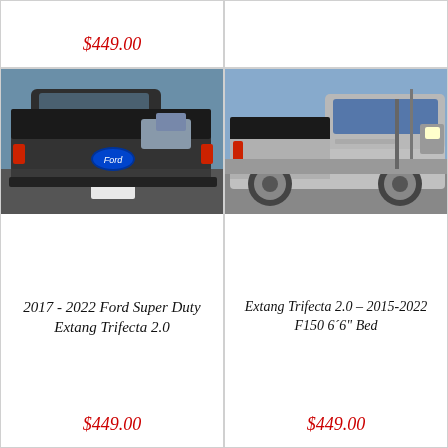$449.00
[Figure (photo): Top-left product card partial, showing price $449.00]
[Figure (photo): Top-right product card partial, empty image area]
[Figure (photo): Photo of rear of dark Ford Super Duty truck with Extang Trifecta 2.0 tonneau cover in parking lot]
2017 - 2022 Ford Super Duty Extang Trifecta 2.0
$449.00
[Figure (photo): Photo of silver Ford F150 truck with Extang Trifecta 2.0 tonneau cover, side view]
Extang Trifecta 2.0 – 2015-2022 F150 6´6" Bed
$449.00